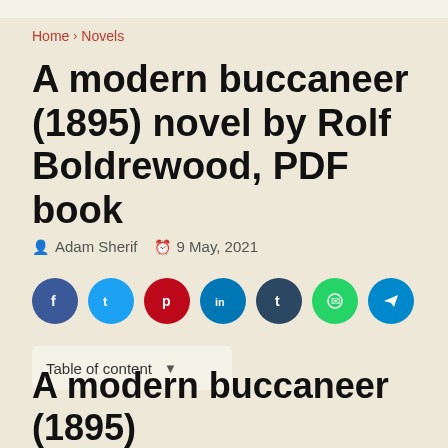Home > Novels
A modern buccaneer (1895) novel by Rolf Boldrewood, PDF book
Adam Sherif  9 May, 2021
[Figure (other): Social share buttons: Facebook (blue), Twitter (light blue), Pinterest (red), LinkedIn (dark blue), Tumblr (dark navy), WhatsApp (green), Telegram (light blue)]
Table of content
A modern buccaneer (1895)